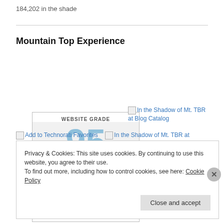184,202 in the shade
Mountain Top Experience
[Figure (screenshot): Website Grade badge showing score of 95 for thekoolaidmom.... powered by WebsiteGrader]
[In the Shadow of Mt. TBR at Blog Catalog]
[Add to Technorati Favorites]  [In the Shadow of Mt. TBR at Blogged]
[Blog Directory - Blogged]
Privacy & Cookies: This site uses cookies. By continuing to use this website, you agree to their use.
To find out more, including how to control cookies, see here: Cookie Policy
Close and accept